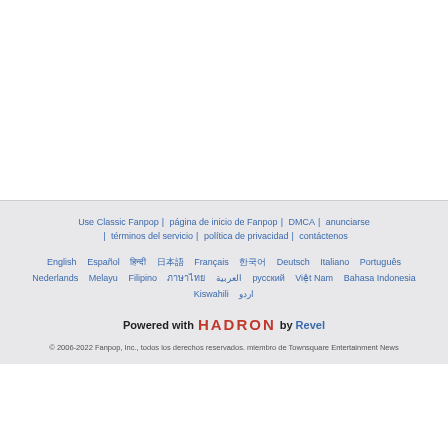Use Classic Fanpop | página de inicio de Fanpop | DMCA | anunciarse | términos del servicio | política de privacidad | contáctenos
English  Español  हिन्दी  日本語  Français  한국어  Deutsch  Italiano  Português  Nederlands  Melayu  Filipino  ภาษาไทย  العربية  русский  Việt Nam  Bahasa Indonesia  Kiswahili  اردو
Powered with HADRON by Revel
© 2006-2022 Fanpop, Inc., todos los derechos reservados. miembro de Townsquare Entertainment News